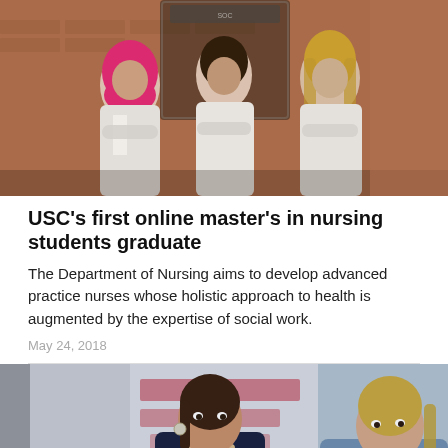[Figure (photo): Three women in white nursing coats standing with arms crossed in front of a brick building with a sign. One woman wears a pink hijab on the left, one has dark hair in the center, and one has blonde hair on the right.]
USC's first online master's in nursing students graduate
The Department of Nursing aims to develop advanced practice nurses whose holistic approach to health is augmented by the expertise of social work.
May 24, 2018
[Figure (photo): Two women seated at a table in discussion. The woman on the left wears a dark blazer and holds a pen, gesturing while speaking. The woman on the right wears a light denim jacket and listens attentively. A blurred red and white banner is visible in the background.]